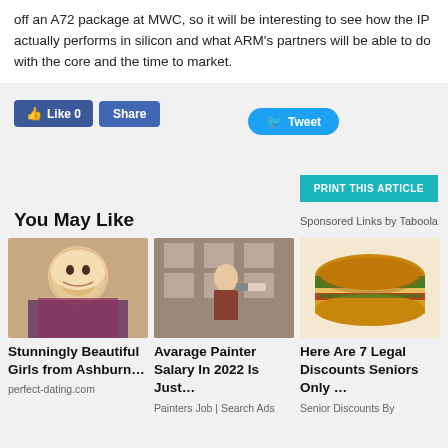off an A72 package at MWC, so it will be interesting to see how the IP actually performs in silicon and what ARM's partners will be able to do with the core and the time to market.
[Figure (other): Social media buttons: Facebook Like (0), Share, and Twitter Tweet buttons]
[Figure (other): Print This Article button in teal/cyan color]
You May Like
Sponsored Links by Taboola
[Figure (photo): Photo of a young blonde woman smiling]
Stunningly Beautiful Girls from Ashburn…
perfect-dating.com
[Figure (photo): Photo of a man inspecting or working on a wall/outlet]
Avarage Painter Salary In 2022 Is Just…
Painters Job | Search Ads
[Figure (photo): Photo of a cheeseburger]
Here Are 7 Legal Discounts Seniors Only …
Senior Discounts By